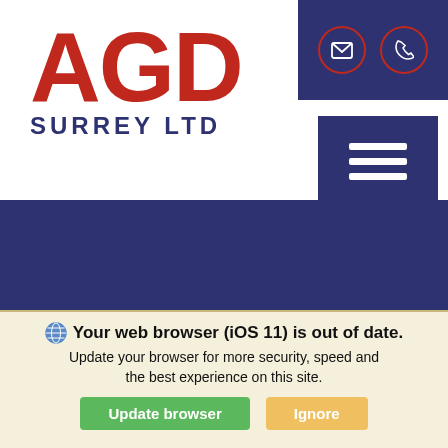[Figure (logo): AGD Surrey Ltd logo with red bold letters and dark blue 'SURREY LTD' text below]
[Figure (infographic): Dark blue top-right box with email and phone icon circles (red border) on white circles]
[Figure (infographic): Dark blue hamburger menu button with three white horizontal lines]
[Figure (infographic): Dark blue section with Facebook and Instagram social media icon circles (red border)]
This website uses cookies
We use cookies in order to give you the best experience of our website.
Read More.
ed Registered in 68 | Website &
Your web browser (iOS 11) is out of date.
Update your browser for more security, speed and the best experience on this site.